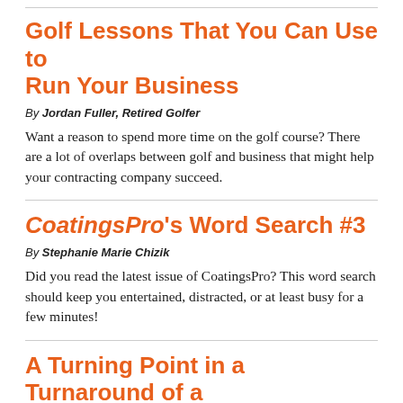Golf Lessons That You Can Use to Run Your Business
By Jordan Fuller, Retired Golfer
Want a reason to spend more time on the golf course? There are a lot of overlaps between golf and business that might help your contracting company succeed.
CoatingsPro's Word Search #3
By Stephanie Marie Chizik
Did you read the latest issue of CoatingsPro? This word search should keep you entertained, distracted, or at least busy for a few minutes!
A Turning Point in a Turnaround of a